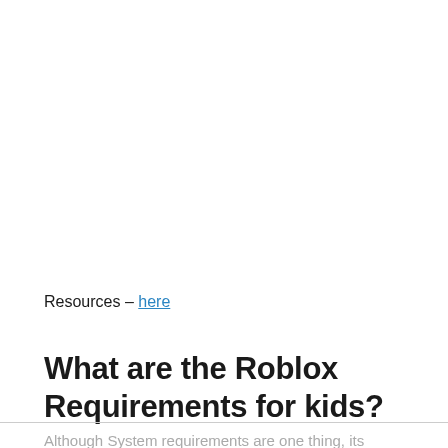Resources – here
What are the Roblox Requirements for kids?
Although System requirements are one thing, its